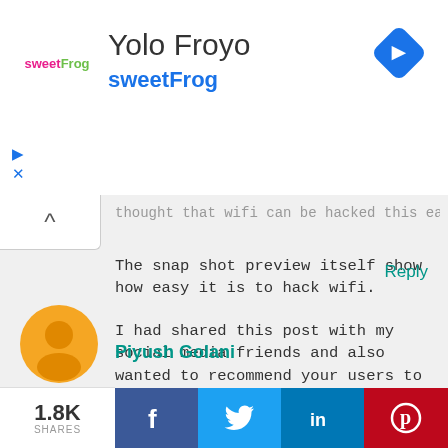[Figure (screenshot): Ad banner for Yolo Froyo / sweetFrog with logo, navigation icon diamond shape top right, and play/close arrows bottom left]
thought that wifi can be hacked this easily.
The snap shot preview itself show how easy it is to hack wifi.
I had shared this post with my social media friends and also wanted to recommend your users to must try this tool :)
Thanks once again :)
Reply
Piyush Golani
1.8K
SHARES